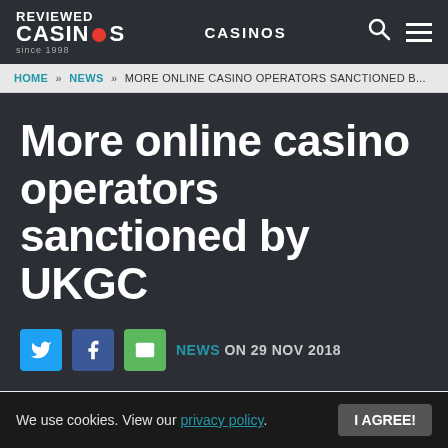REVIEWED CASINOS since 1998 | CASINOS
HOME » NEWS » MORE ONLINE CASINO OPERATORS SANCTIONED B...
More online casino operators sanctioned by UKGC
NEWS ON 29 NOV 2018
This (Thursday) morning, the UK Gambling...
We use cookies. View our privacy policy. I AGREE!